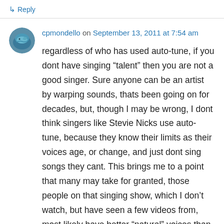↳ Reply
cpmondello on September 13, 2011 at 7:54 am
regardless of who has used auto-tune, if you dont have singing “talent” then you are not a good singer. Sure anyone can be an artist by warping sounds, thats been going on for decades, but, though I may be wrong, I dont think singers like Stevie Nicks use auto-tune, because they know their limits as their voices age, or change, and just dont sing songs they cant. This brings me to a point that many may take for granted, those people on that singing show, which I don’t watch, but have seen a few videos from, most likely have better “natural” voices than the “famous” people. I used to go to